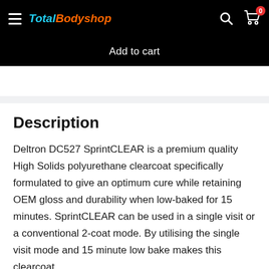Total Bodyshop — navigation bar with hamburger menu, logo, search and cart icons
Add to cart
Description
Deltron DC527 SprintCLEAR is a premium quality High Solids polyurethane clearcoat specifically formulated to give an optimum cure while retaining OEM gloss and durability when low-baked for 15 minutes. SprintCLEAR can be used in a single visit or a conventional 2-coat mode. By utilising the single visit mode and 15 minute low bake makes this clearcoat